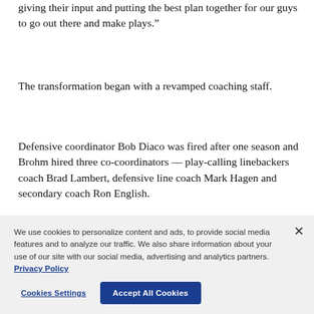giving their input and putting the best plan together for our guys to go out there and make plays.”
The transformation began with a revamped coaching staff.
Defensive coordinator Bob Diaco was fired after one season and Brohm hired three co-coordinators — play-calling linebackers coach Brad Lambert, defensive line coach Mark Hagen and secondary coach Ron English.
· · · · · · · · · · · · · · · · ·
We use cookies to personalize content and ads, to provide social media features and to analyze our traffic. We also share information about your use of our site with our social media, advertising and analytics partners. Privacy Policy
Cookies Settings
Accept All Cookies